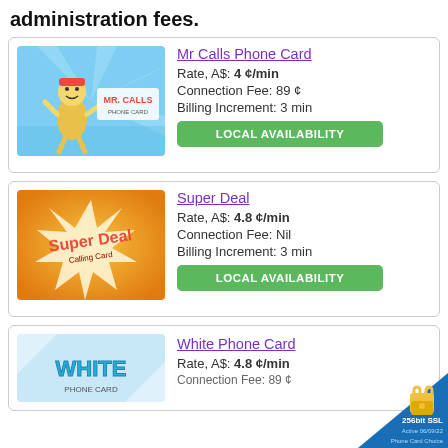administration fees.
[Figure (illustration): Mr Calls Phone Card product image with cartoon character]
Mr Calls Phone Card
Rate, A$: 4 ¢/min
Connection Fee: 89 ¢
Billing Increment: 3 min
LOCAL AVAILABILITY
[Figure (illustration): Super Deal Calling Card product image with starburst design]
Super Deal
Rate, A$: 4.8 ¢/min
Connection Fee: Nil
Billing Increment: 3 min
LOCAL AVAILABILITY
[Figure (illustration): White Phone Card product image]
White Phone Card
Rate, A$: 4.8 ¢/min
Connection Fee: 89 ¢
[Figure (illustration): 256-bit SSL security badge]